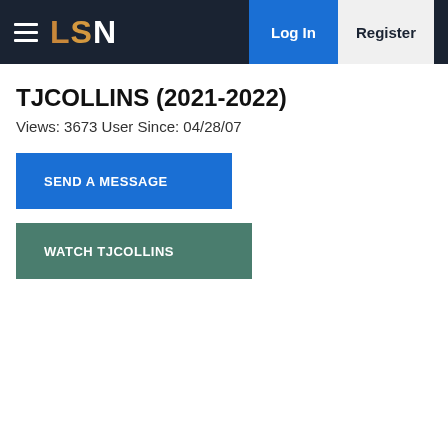LSN | Log In | Register
TJCOLLINS (2021-2022)
Views: 3673 User Since: 04/28/07
SEND A MESSAGE
WATCH TJCOLLINS